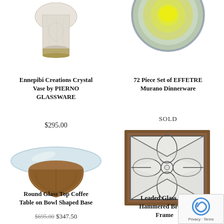[Figure (photo): Crystal vase product photo - Ennepibi Creations Crystal Vase by PIERNO GLASSWARE, top portion visible]
Ennepibi Creations Crystal Vase by PIERNO GLASSWARE
$295.00
[Figure (photo): Round plate dinnerware product photo - 72 Piece Set of EFFETRE Murano Dinnerware, top portion visible]
72 Piece Set of EFFETRE Murano Dinnerware
SOLD
[Figure (photo): Round Glass Top Coffee Table on Bowl Shaped Base - glass circle top on brown bowl-shaped wooden base]
Round Glass Top Coffee Table on Bowl Shaped Base
$695.00 $347.50
[Figure (photo): Leaded Glass Panel in Hammered Bronze Frame - decorative stained glass panel with floral/cross pattern in bronze frame]